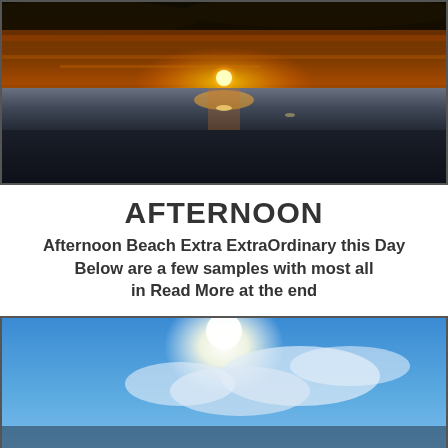[Figure (photo): Beach sunset photo showing the sun setting over the ocean horizon with orange and golden sky and dark foreground beach sand]
AFTERNOON
Afternoon Beach Extra ExtraOrdinary this Day Below are a few samples with most all in Read More at the end
[Figure (photo): Blue sky with bright sunlight and white clouds, beach scene below]